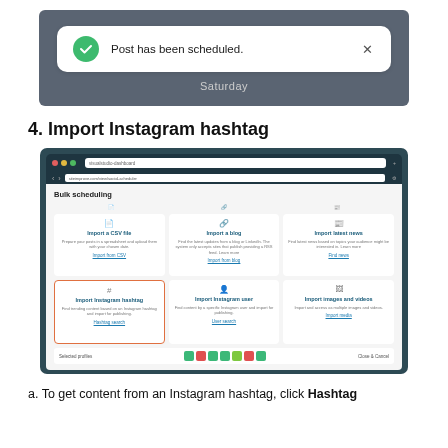[Figure (screenshot): Screenshot showing a green 'Post has been scheduled.' notification banner with a checkmark icon and X close button, overlaid on a calendar view showing 'Saturday']
4. Import Instagram hashtag
[Figure (screenshot): Screenshot of a 'Bulk scheduling' dashboard in a web browser, showing six import options in a grid: Import a CSV file, Import a blog, Import latest news, Import Instagram hashtag (highlighted with orange border), Import Instagram user, Import images and videos. Bottom bar shows selected profiles icons and a Close & Cancel button.]
a. To get content from an Instagram hashtag, click Hashtag